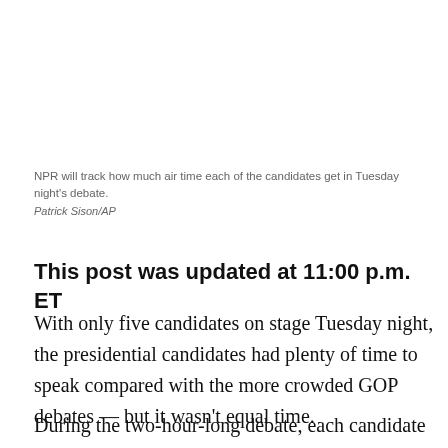NPR will track how much air time each of the candidates get in Tuesday night's debate.
Patrick Sison/AP
This post was updated at 11:00 p.m. ET
With only five candidates on stage Tuesday night, the presidential candidates had plenty of time to speak compared with the more crowded GOP debates — but it wasn't equal time.
During the two-hour-long debate, each candidate was to have one minute to answer a direct question. If the candidate is